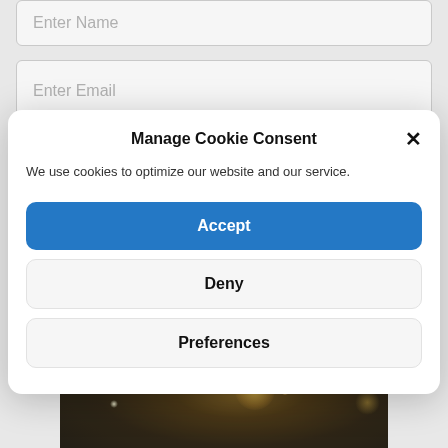Enter Name
Enter Email
Manage Cookie Consent
We use cookies to optimize our website and our service.
Accept
Deny
Preferences
[Figure (photo): Dark bokeh background photo with blurred golden light spots on dark background]